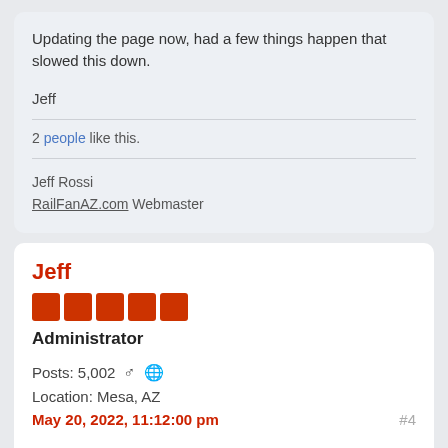Updating the page now, had a few things happen that slowed this down.
Jeff
2 people like this.
Jeff Rossi
RailFanAZ.com Webmaster
Jeff
Administrator
Posts: 5,002
Location: Mesa, AZ
May 20, 2022, 11:12:00 pm
#4
My contact just got back to me this evening.